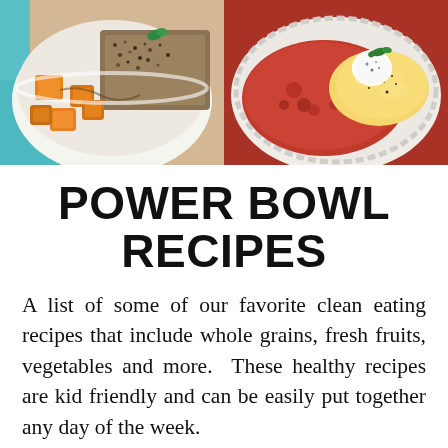[Figure (photo): Two food bowl photos side by side: left shows roasted vegetables (orange squash cubes) with mixed grains and herbs in a white bowl; right shows a bowl with red tomato sauce and scrambled eggs or cheese with a green garnish.]
POWER BOWL RECIPES
A list of some of our favorite clean eating recipes that include whole grains, fresh fruits, vegetables and more.  These healthy recipes are kid friendly and can be easily put together any day of the week.